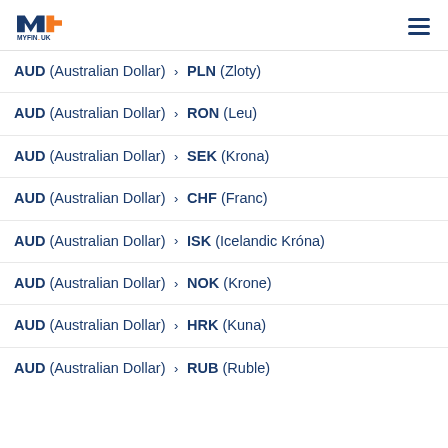MYFIN.UK
AUD (Australian Dollar) > PLN (Zloty)
AUD (Australian Dollar) > RON (Leu)
AUD (Australian Dollar) > SEK (Krona)
AUD (Australian Dollar) > CHF (Franc)
AUD (Australian Dollar) > ISK (Icelandic Króna)
AUD (Australian Dollar) > NOK (Krone)
AUD (Australian Dollar) > HRK (Kuna)
AUD (Australian Dollar) > RUB (Ruble)